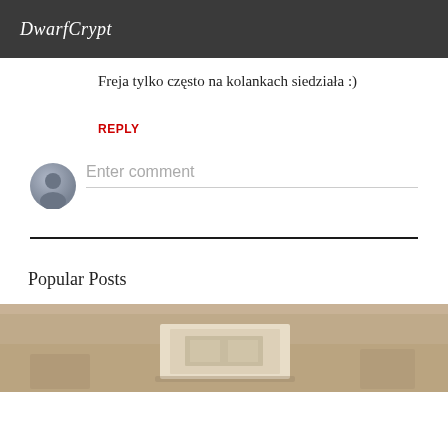DwarfCrypt
Freja tylko często na kolankach siedziała :)
REPLY
Enter comment
Popular Posts
[Figure (photo): Sepia-toned old photograph partially visible at the bottom of the page]